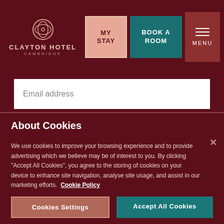[Figure (logo): Clayton Hotel Cambridge logo with circular motif and text]
MY STAY
BOOK A ROOM
MENU
Email address
SUBMIT
About Cookies
We use cookies to improve your browsing experience and to provide advertising which we believe may be of interest to you. By clicking "Accept All Cookies", you agree to the storing of cookies on your device to enhance site navigation, analyse site usage, and assist in our marketing efforts.  Cookie Policy
Cookies Settings
Accept All Cookies